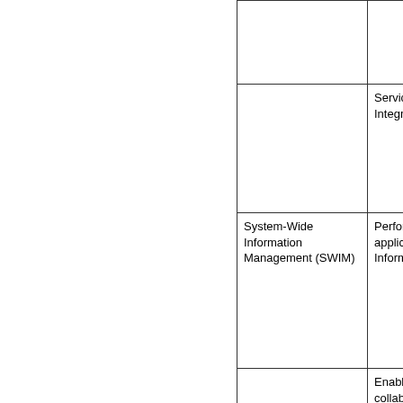|  | Service Improvement through Integration of Digital ATM Info... |
| System-Wide Information Management (SWIM) | Performance Improvement through application of System-Wide Information Management (SW... |
|  | Enabling Airborne Participation in collaborative ATM through SWIM |
| Advanced Meteorological... | Meteorological information supp... |